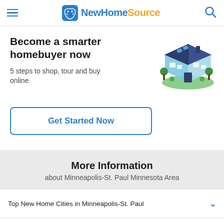NewHomeSource
Become a smarter homebuyer now
5 steps to shop, tour and buy online
[Figure (illustration): Isometric illustration of a house with green lawn]
Get Started Now
More Information
about Minneapolis-St. Paul Minnesota Area
Top New Home Cities in Minneapolis-St. Paul
New Homes in Minneapolis-St. Paul by Region
Popular Searches Near Minneapolis-St. Paul, MN